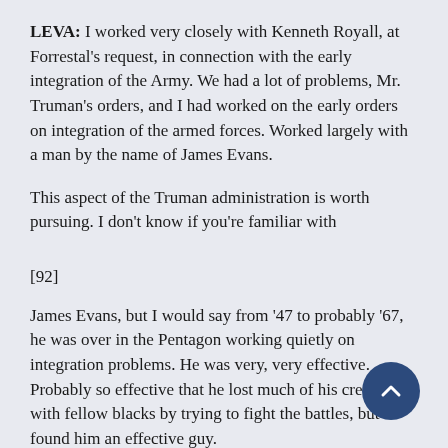LEVA: I worked very closely with Kenneth Royall, at Forrestal's request, in connection with the early integration of the Army. We had a lot of problems, Mr. Truman's orders, and I had worked on the early orders on integration of the armed forces. Worked largely with a man by the name of James Evans.

This aspect of the Truman administration is worth pursuing. I don't know if you're familiar with
[92]
James Evans, but I would say from '47 to probably '67, he was over in the Pentagon working quietly on integration problems. He was very, very effective. Probably so effective that he lost much of his credibility with fellow blacks by trying to fight the battles, but I found him an effective guy.